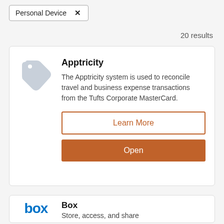Personal Device ×
20 results
[Figure (illustration): Price tag icon in light blue-grey color]
Apptricity
The Apptricity system is used to reconcile travel and business expense transactions from the Tufts Corporate MasterCard.
Learn More
Open
[Figure (logo): Box logo in blue lowercase letters]
Box
Store, access, and share